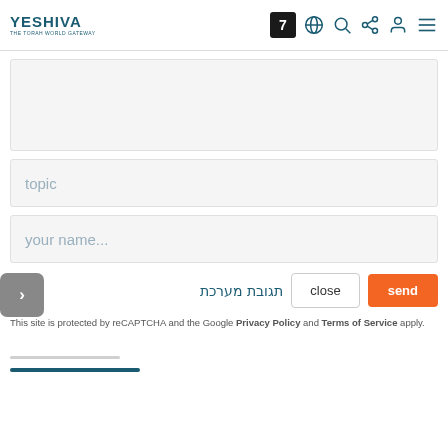YESHIVA - The Torah World Gateway
[Figure (screenshot): Textarea form field (empty, light gray background)]
topic
your name...
תגובת מערכת
close
send
This site is protected by reCAPTCHA and the Google Privacy Policy and Terms of Service apply.